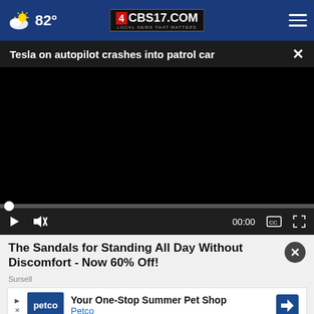82° CBS17.COM LOCAL NEWS THAT MATTERS
Tesla on autopilot crashes into patrol car
[Figure (screenshot): Black video player screen with progress bar and playback controls showing 00:00 timestamp]
The Sandals for Standing All Day Without Discomfort - Now 60% Off!
Sursell
[Figure (other): Petco advertisement banner: Your One-Stop Summer Pet Shop - Petco]